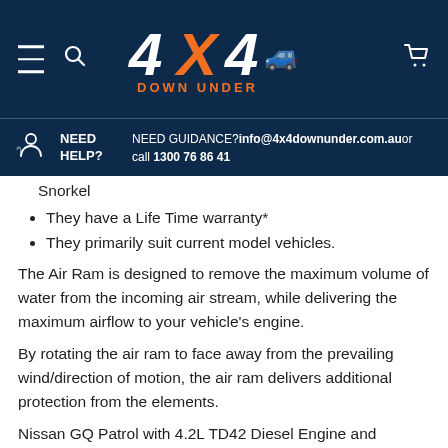[Figure (logo): 4X4 Down Under logo with orange and white stylized text on dark navy background, with hamburger menu and search icons on left and cart icon on right]
NEED HELP? NEED GUIDANCE? info@4x4downunder.com.au or call 1300 76 86 41
Snorkel
They have a Life Time warranty*
They primarily suit current model vehicles.
The Air Ram is designed to remove the maximum volume of water from the incoming air stream, while delivering the maximum airflow to your vehicle's engine.
By rotating the air ram to face away from the prevailing wind/direction of motion, the air ram delivers additional protection from the elements.
Nissan GQ Patrol with 4.2L TD42 Diesel Engine and Horizontal Pre-Cleaner